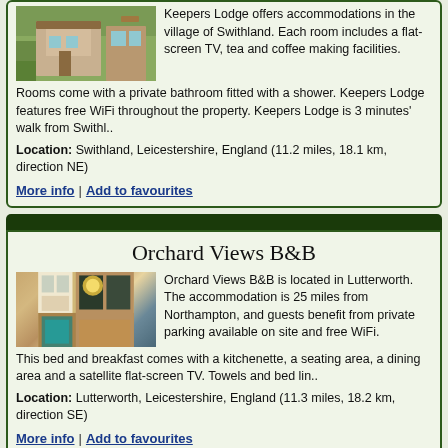Keepers Lodge offers accommodations in the village of Swithland. Each room includes a flat-screen TV, tea and coffee making facilities. Rooms come with a private bathroom fitted with a shower. Keepers Lodge features free WiFi throughout the property. Keepers Lodge is 3 minutes' walk from Swithl..
Location: Swithland, Leicestershire, England (11.2 miles, 18.1 km, direction NE)
More info | Add to favourites
Orchard Views B&B
Orchard Views B&B is located in Lutterworth. The accommodation is 25 miles from Northampton, and guests benefit from private parking available on site and free WiFi. This bed and breakfast comes with a kitchenette, a seating area, a dining area and a satellite flat-screen TV. Towels and bed lin..
Location: Lutterworth, Leicestershire, England (11.3 miles, 18.2 km, direction SE)
More info | Add to favourites